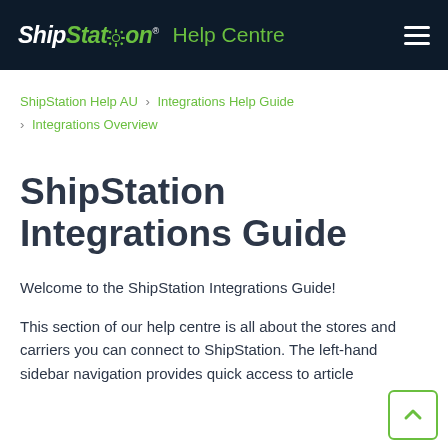ShipStation® Help Centre
ShipStation Help AU › Integrations Help Guide › Integrations Overview
ShipStation Integrations Guide
Welcome to the ShipStation Integrations Guide!
This section of our help centre is all about the stores and carriers you can connect to ShipStation. The left-hand sidebar navigation provides quick access to articles…